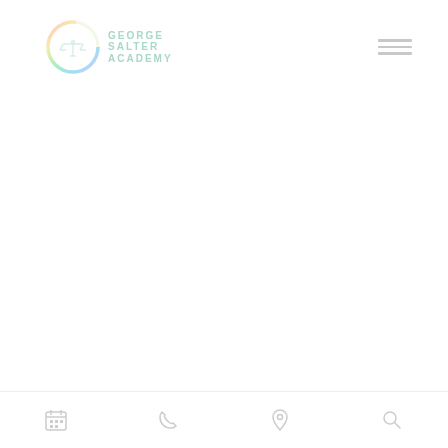[Figure (logo): George Salter Academy logo with circular emblem containing scales of justice and rainbow-colored ring, with text 'GEORGE SALTER ACADEMY' in teal/mint letters]
[Figure (other): Hamburger menu icon (three horizontal lines) in light gray, top right corner]
[Figure (other): Bottom navigation bar with four icons: calendar, phone, location pin, and search — all in light gray]